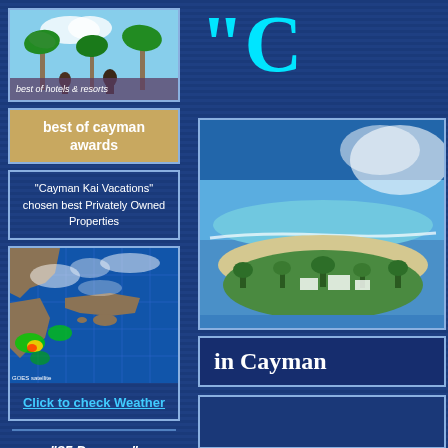[Figure (photo): Photo of Cayman hotels and resorts - tropical scene with palm trees and people]
best of hotels & resorts
best of cayman awards
"Cayman Kai Vacations" chosen best Privately Owned Properties
[Figure (map): Satellite weather radar map of Caribbean region including Cuba and surrounding islands]
Click to check Weather
"85 Degrees" Average Temperature
"82 Degrees" Average Water Temperature
"C
[Figure (photo): Aerial photo of Cayman island showing coastline, beach, and blue ocean water]
in Cayman